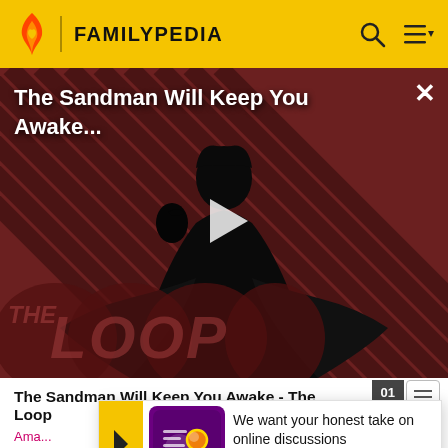FAMILYPEDIA
[Figure (screenshot): Video thumbnail for 'The Sandman Will Keep You Awake...' showing a dark-cloaked figure against a diagonal striped reddish-brown background with 'THE LOOP' watermark and a play button]
The Sandman Will Keep You Awake - The Loop
We want your honest take on online discussions
SURVEY: ONLINE FORUMS